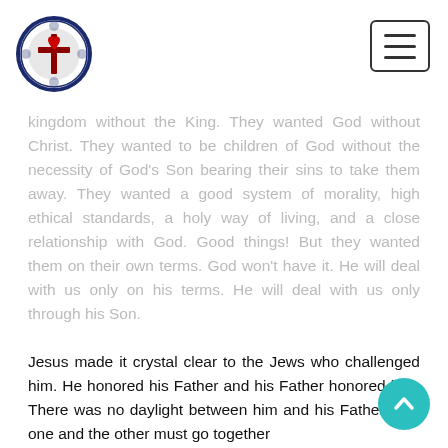[Lutheran church logo] [Menu button]
kingdom without the King. They wanted God without Christ. They wanted to be children of God without the necessity of God’s Son bearing their sins to take them away. They wanted a good system of morality, high ethical standards, a holy way of living, and a close relationship with God. Good things! But they wanted them on their own terms. God won’t have it. He will deal with us only on his terms. He will deal with us only through his Son.
Jesus made it crystal clear to the Jews who challenged him. He honored his Father and his Father honored him. There was no daylight between him and his Father. The one and the other must go together